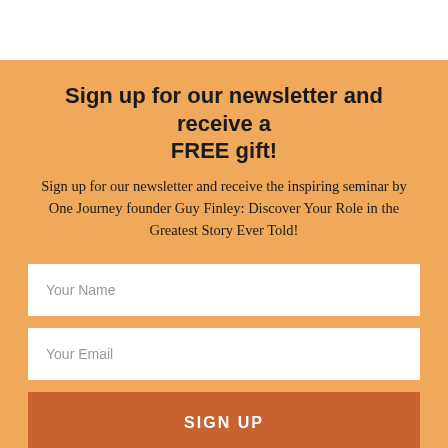Sign up for our newsletter and receive a FREE gift!
Sign up for our newsletter and receive the inspiring seminar by One Journey founder Guy Finley: Discover Your Role in the Greatest Story Ever Told!
Your Name
Your Email
SIGN UP